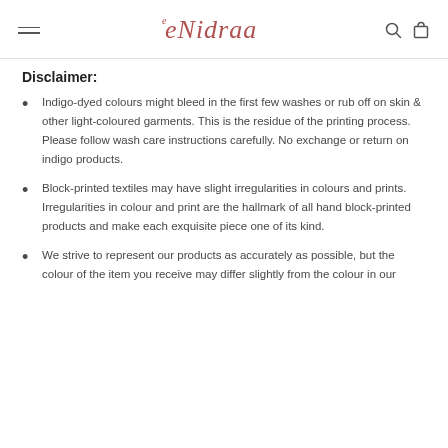eNidraa [logo with hamburger menu, search icon, cart icon]
Disclaimer:
Indigo-dyed colours might bleed in the first few washes or rub off on skin & other light-coloured garments. This is the residue of the printing process. Please follow wash care instructions carefully. No exchange or return on indigo products.
Block-printed textiles may have slight irregularities in colours and prints. Irregularities in colour and print are the hallmark of all hand block-printed products and make each exquisite piece one of its kind.
We strive to represent our products as accurately as possible, but the colour of the item you receive may differ slightly from the colour in our